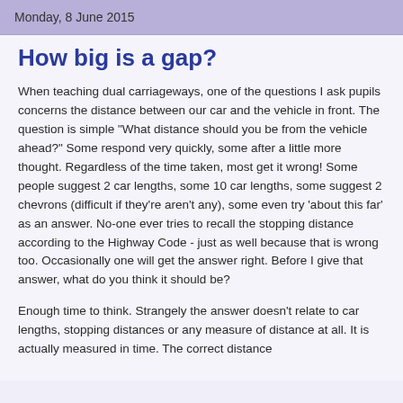Monday, 8 June 2015
How big is a gap?
When teaching dual carriageways, one of the questions I ask pupils concerns the distance between our car and the vehicle in front.  The question is simple "What distance should you be from the vehicle ahead?"  Some respond very quickly, some after a little more thought.  Regardless of the time taken, most get it wrong!  Some people suggest 2 car lengths, some 10 car lengths, some suggest 2 chevrons (difficult if they're aren't any), some even try 'about this far' as an answer.  No-one ever tries to recall the stopping distance according to the Highway Code - just as well because that is wrong too.  Occasionally one will get the answer right.  Before I give that answer, what do you think it should be?
Enough time to think.  Strangely the answer doesn't relate to car lengths, stopping distances or any measure of distance at all.  It is actually measured in time.  The correct distance